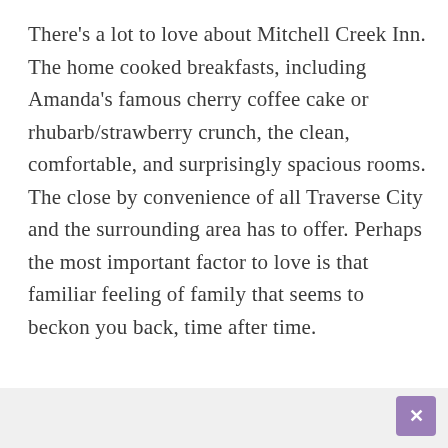There's a lot to love about Mitchell Creek Inn. The home cooked breakfasts, including Amanda's famous cherry coffee cake or rhubarb/strawberry crunch, the clean, comfortable, and surprisingly spacious rooms. The close by convenience of all Traverse City and the surrounding area has to offer. Perhaps the most important factor to love is that familiar feeling of family that seems to beckon you back, time after time.
[Figure (other): Partially visible watermark/logo text reading 'MITCHELL CREEK INN' in large light gray letters, with a 'close' button overlay]
Cookies are used for measurement, ads and optimization. By continuing to use our site you agree to our privacy policy.